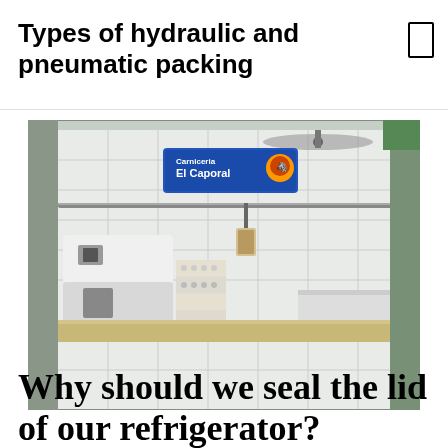Types of hydraulic and pneumatic packing
[Figure (photo): Interior view of a butcher shop or food counter showing white tiled walls, a counter surface, a white refrigeration/meat processing machine on the left with egg cartons beside it, a ceiling fan, a blue sign reading 'Carniceria El Caporal' with a logo, a small framed item on the wall, and additional white equipment on the right]
Why should we seal the lid of our refrigerator?